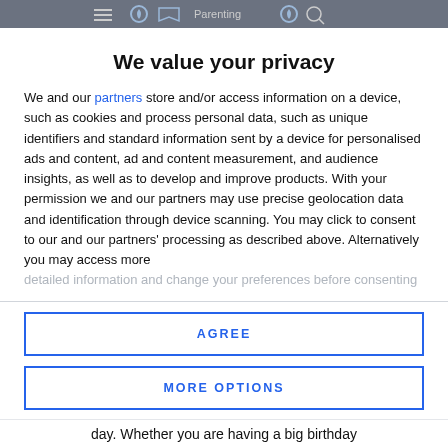[navigation bar with icons]
We value your privacy
We and our partners store and/or access information on a device, such as cookies and process personal data, such as unique identifiers and standard information sent by a device for personalised ads and content, ad and content measurement, and audience insights, as well as to develop and improve products. With your permission we and our partners may use precise geolocation data and identification through device scanning. You may click to consent to our and our partners' processing as described above. Alternatively you may access more detailed information and change your preferences before consenting
AGREE
MORE OPTIONS
day. Whether you are having a big birthday